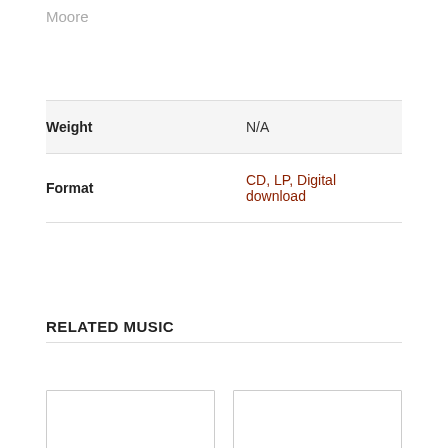Moore
| Weight | N/A |
| Format | CD, LP, Digital download |
RELATED MUSIC
[Figure (other): Two empty card placeholders for related music items]